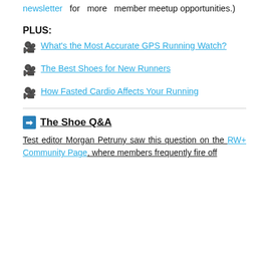newsletter for more member meetup opportunities.)
PLUS:
What's the Most Accurate GPS Running Watch?
The Best Shoes for New Runners
How Fasted Cardio Affects Your Running
The Shoe Q&A
Test editor Morgan Petruny saw this question on the RW+ Community Page, where members frequently fire off